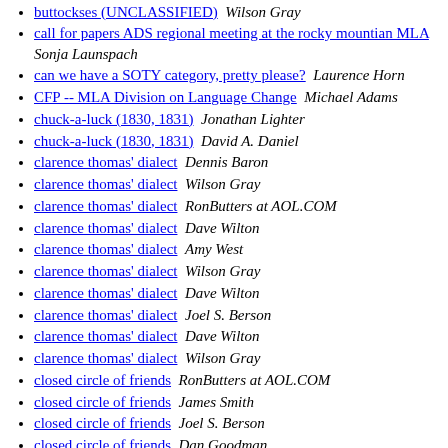buttockses (UNCLASSIFIED)  Wilson Gray
call for papers ADS regional meeting at the rocky mountian MLA  Sonja Launspach
can we have a SOTY category, pretty please?  Laurence Horn
CFP -- MLA Division on Language Change  Michael Adams
chuck-a-luck (1830, 1831)  Jonathan Lighter
chuck-a-luck (1830, 1831)  David A. Daniel
clarence thomas' dialect  Dennis Baron
clarence thomas' dialect  Wilson Gray
clarence thomas' dialect  RonButters at AOL.COM
clarence thomas' dialect  Dave Wilton
clarence thomas' dialect  Amy West
clarence thomas' dialect  Wilson Gray
clarence thomas' dialect  Dave Wilton
clarence thomas' dialect  Joel S. Berson
clarence thomas' dialect  Dave Wilton
clarence thomas' dialect  Wilson Gray
closed circle of friends  RonButters at AOL.COM
closed circle of friends  James Smith
closed circle of friends  Joel S. Berson
closed circle of friends  Dan Goodman
closed circle of friends  Wilson Gray
closed circle of friends  Mark Mandel
closed circle of friends  Wilson Gray